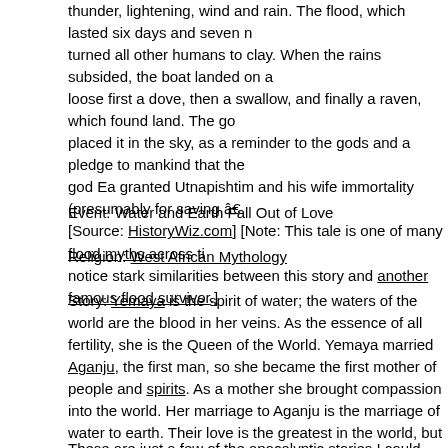thunder, lightening, wind and rain. The flood, which lasted six days and seven n... turned all other humans to clay. When the rains subsided, the boat landed on a... loose first a dove, then a swallow, and finally a raven, which found land. The go... placed it in the sky, as a reminder to the gods and a pledge to mankind that the... god Ea granted Utnapishtim and his wife immortality (presumably for saving â€... [Source: HistoryWiz.com] [Note: This tale is one of many flood myths across ti... notice stark similarities between this story and another famous flood survivor.]
Event: Water and Earth Fall Out of Love
Religion: West African Mythology
Story: Yemaya is the spirit of water; the waters of the world are the blood in her veins. As the essence of all fertility, she is the Queen of the World. Yemaya married Aganju, the first man, so she became the first mother of people and spirits. As a mother she brought compassion into the world. Her marriage to Aganju is the marriage of water to earth. Their love is the greatest in the world, but when it ends, water and earth will separate again and it will be the end of the world. [Source: Beautiful-mermaid-art.com] [Note: This is a lovely story, but I cannot verify it on any other site. There are many variations of the goddess Yemaya online, but none included this story or something like it.]
These are just a few of the apocalyptic stories I could find online. What about you readers? Have you seen or heard other stories of the end of